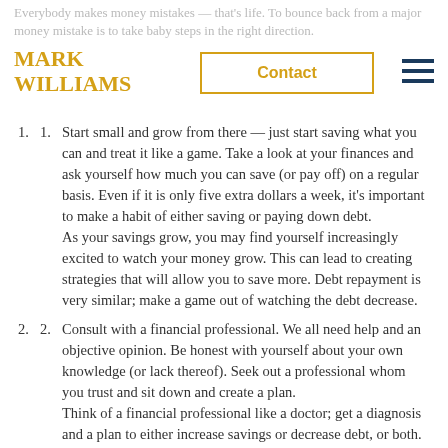Everybody makes money mistakes — that's life. To bounce back from a major money mistake is to take baby steps in the right direction.
MARK WILLIAMS
Contact
Start small and grow from there — just start saving what you can and treat it like a game. Take a look at your finances and ask yourself how much you can save (or pay off) on a regular basis. Even if it is only five extra dollars a week, it's important to make a habit of either saving or paying down debt.
As your savings grow, you may find yourself increasingly excited to watch your money grow. This can lead to creating strategies that will allow you to save more. Debt repayment is very similar; make a game out of watching the debt decrease.
Consult with a financial professional. We all need help and an objective opinion. Be honest with yourself about your own knowledge (or lack thereof). Seek out a professional whom you trust and sit down and create a plan.
Think of a financial professional like a doctor; get a diagnosis and a plan to either increase savings or decrease debt, or both. You aren't limited to just do one...